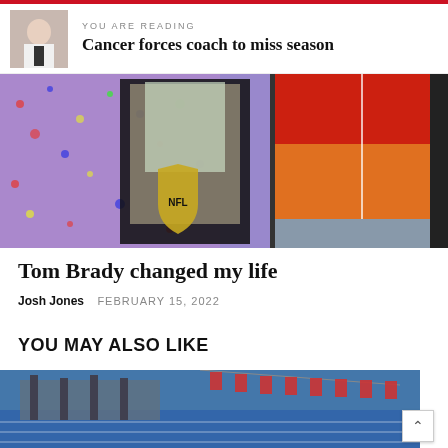YOU ARE READING
Cancer forces coach to miss season
[Figure (photo): NFL trophy in display case with person wearing orange and red jacket standing beside it, colorful confetti background]
Tom Brady changed my life
Josh Jones  FEBRUARY 15, 2022
YOU MAY ALSO LIKE
[Figure (photo): Swimming pool or aquatic facility with bleachers and colorful flags/banners]